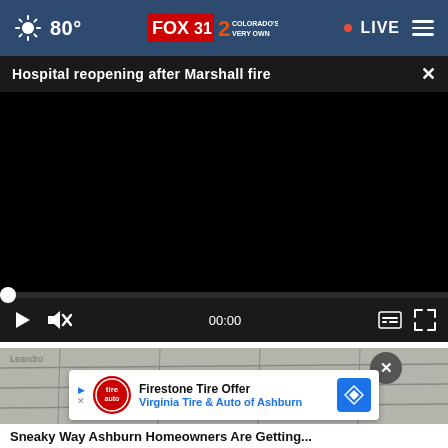[Figure (screenshot): FOX 31 Colorado news website screenshot showing navigation bar with temperature 80°, FOX 31 / Channel 2 Colorado's Very Own logo, LIVE indicator, and hamburger menu]
Hospital reopening after Marshall fire
[Figure (screenshot): Black video player with seek bar at 0, play button, mute button, time 00:00, caption and fullscreen controls]
[Figure (screenshot): Pavement background image with close button and Firestone Tire Offer / Virginia Tire & Auto of Ashburn advertisement banner]
Sneaky Way Ashburn Homeowners Are Getting...